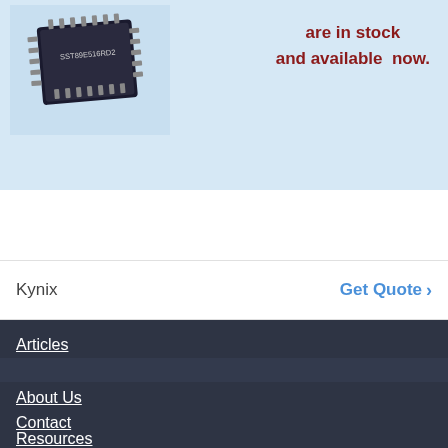[Figure (photo): IC chip (microcontroller) with label SST89E516RD2 on blue circuit board background banner]
are in stock
and available now.
Integrated Circuits Supplier
Kynix
Get Quote >
Articles
About Us
Contact
Terms
Resources